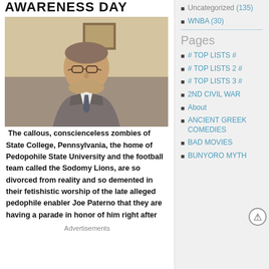AWARENESS DAY
[Figure (photo): Elderly man in glasses and suit jacket, photo from a blog article]
The callous, conscienceless zombies of State College, Pennsylvania, the home of Pedopohile State University and the football team called the Sodomy Lions, are so divorced from reality and so demented in their fetishistic worship of the late alleged pedophile enabler Joe Paterno that they are having a parade in honor of him right after
Advertisements
Uncategorized (135)
WNBA (30)
Pages
# TOP LISTS #
# TOP LISTS 2 #
# TOP LISTS 3 #
2ND CIVIL WAR
About
ANCIENT GREEK COMEDIES
BAD MOVIES
BUNYORO MYTH